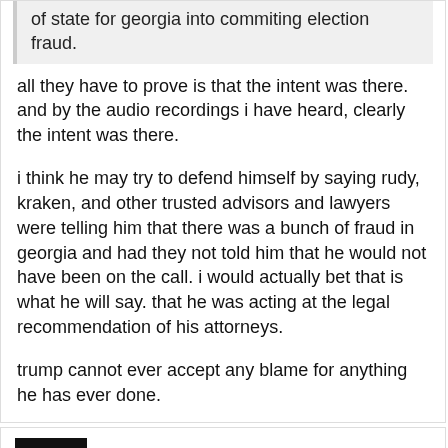of state for georgia into commiting election fraud.
all they have to prove is that the intent was there. and by the audio recordings i have heard, clearly the intent was there.
i think he may try to defend himself by saying rudy, kraken, and other trusted advisors and lawyers were telling him that there was a bunch of fraud in georgia and had they not told him that he would not have been on the call. i would actually bet that is what he will say. that he was acting at the legal recommendation of his attorneys.
trump cannot ever accept any blame for anything he has ever done.
Gern Blansten
January 25 edited January 25
gimmesometruth27 said:
show previous quotes
all they have to prove is that the intent was there. and